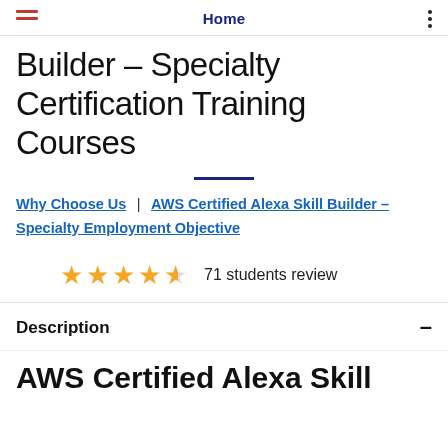Home
Builder – Specialty Certification Training Courses
Why Choose Us | AWS Certified Alexa Skill Builder – Specialty Employment Objective
[Figure (other): 4.5 out of 5 stars rating with text '71 students review']
Description
AWS Certified Alexa Skill